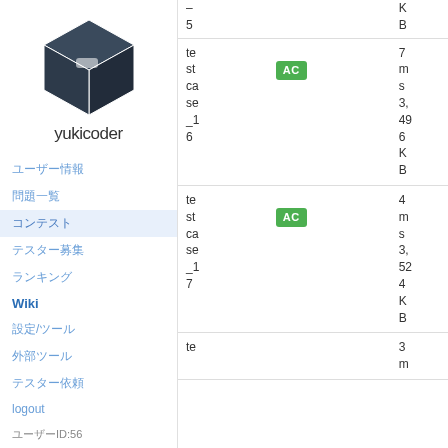[Figure (logo): yukicoder box logo icon]
yukicoder
ユーザー情報
問題一覧
コンテスト
テスター募集
ランキング
Wiki
設定/ツール
外部ツール
テスター依頼
logout
ユーザーID:56
| # | testcase | result | memory |
| --- | --- | --- | --- |
| 5 |  |  | K
B |
| testcase_16 | AC | 7ms
3,496 KB |  |
| testcase_17 | AC | 4ms
3,524 KB |  |
| te |  |  | 3m |